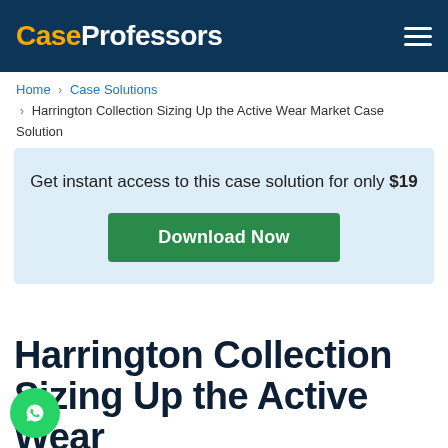CaseProfessors
Home › Case Solutions › Harrington Collection Sizing Up the Active Wear Market Case Solution
Get instant access to this case solution for only $19
Download Now
Harrington Collection Sizing Up the Active Wear Market Case Solution